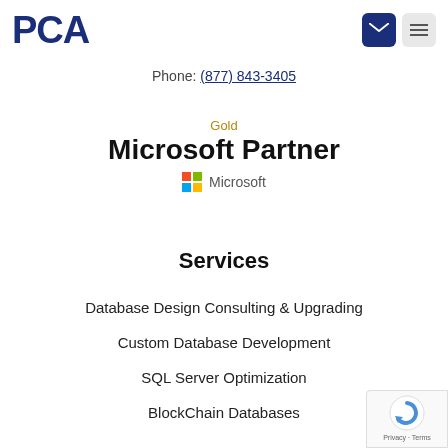PCA
Phone: (877) 843-3405
[Figure (logo): Gold Microsoft Partner logo with Microsoft four-color grid icon]
Services
Database Design Consulting & Upgrading
Custom Database Development
SQL Server Optimization
BlockChain Databases